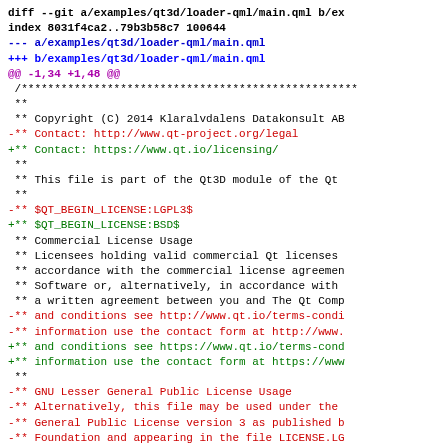[Figure (screenshot): A git diff output showing changes to examples/qt3d/loader-qml/main.qml. The diff shows removal of LGPL3 license references and addition of BSD license references, along with URL updates from qt-project.org to qt.io. Lines in black are context, red lines are removals (prefixed with -), green lines are additions (prefixed with +), and blue/cyan lines are diff headers.]